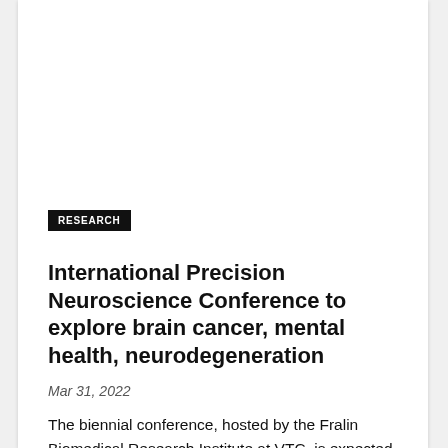RESEARCH
International Precision Neuroscience Conference to explore brain cancer, mental health, neurodegeneration
Mar 31, 2022
The biennial conference, hosted by the Fralin Biomedical Research Institute at VTC, is expected to attract neuroscientists, physicians, and trainees from across the world to Roanoke this spring.